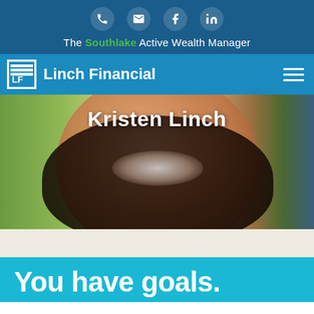Phone, Email, Facebook, LinkedIn social icons
The Southlake Active Wealth Manager
[Figure (logo): Linch Financial logo with LF initials in white box and brand name]
[Figure (photo): Portrait photo of Kristen Linch smiling with curly hair, outdoor background]
Kristen Linch
You have goals.